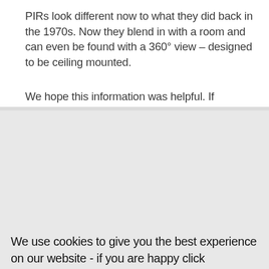PIRs look different now to what they did back in the 1970s. Now they blend in with a room and can even be found with a 360° view – designed to be ceiling mounted.
We hope this information was helpful. If
We use cookies to give you the best experience on our website - if you are happy click acknowledge & accept. Alternatively, you can find more information in our privacy policy.